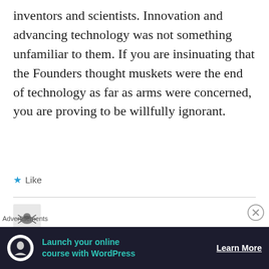inventors and scientists. Innovation and advancing technology was not something unfamiliar to them. If you are insinuating that the Founders thought muskets were the end of technology as far as arms were concerned, you are proving to be willfully ignorant.
★ Like
[Figure (screenshot): WordPress advertisement banner: 'Launch your online course with WordPress' with Learn More button on dark background]
Advertisements